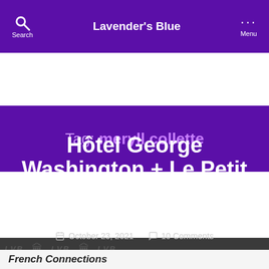Lavender's Blue | Search | Menu
Tag: meryll collette
[Figure (screenshot): Dark grey card area with repeating LVB and building watermark pattern background]
Hôtel George Washington + Le Petit George Restaurant Paris
October 23, 2021  10 Comments
French Connections